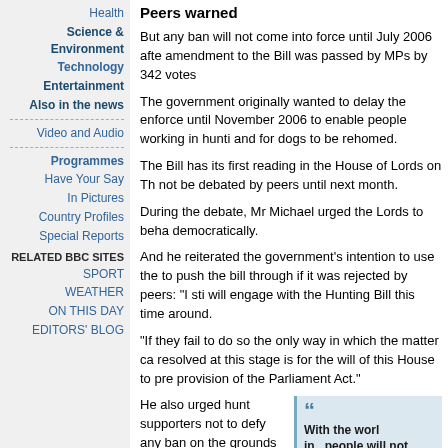Health
Science & Environment
Technology
Entertainment
Also in the news
Video and Audio
Programmes
Have Your Say
In Pictures
Country Profiles
Special Reports
RELATED BBC SITES
SPORT
WEATHER
ON THIS DAY
EDITORS' BLOG
Peers warned
But any ban will not come into force until July 2006 after an amendment to the Bill was passed by MPs by 342 votes to
The government originally wanted to delay the enforcement until November 2006 to enable people working in hunting and for dogs to be rehomed.
The Bill has its first reading in the House of Lords on Th not be debated by peers until next month.
During the debate, Mr Michael urged the Lords to beha democratically.
And he reiterated the government's intention to use the to push the bill through if it was rejected by peers: "I sti will engage with the Hunting Bill this time around.
"If they fail to do so the only way in which the matter ca resolved at this stage is for the will of this House to pre provision of the Parliament Act."
He also urged hunt supporters not to defy any ban on the grounds that the use of the Parliament Act meant it was "unfair".
"That argument turns democracy on its head," he said.
With the world in...people will not Labour's warped p
James Gray
Tory spokesman
Analysis: The real h
How did your MP